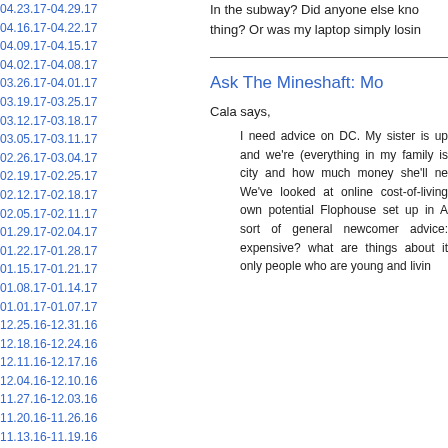04.23.17-04.29.17
04.16.17-04.22.17
04.09.17-04.15.17
04.02.17-04.08.17
03.26.17-04.01.17
03.19.17-03.25.17
03.12.17-03.18.17
03.05.17-03.11.17
02.26.17-03.04.17
02.19.17-02.25.17
02.12.17-02.18.17
02.05.17-02.11.17
01.29.17-02.04.17
01.22.17-01.28.17
01.15.17-01.21.17
01.08.17-01.14.17
01.01.17-01.07.17
12.25.16-12.31.16
12.18.16-12.24.16
12.11.16-12.17.16
12.04.16-12.10.16
11.27.16-12.03.16
11.20.16-11.26.16
11.13.16-11.19.16
11.06.16-11.12.16
10.30.16-11.05.16
10.23.16-10.29.16
10.16.16-10.22.16
10.09.16-10.15.16
10.02.16-10.08.16
09.25.16-10.01.16
09.18.16-09.24.16
09.11.16-09.17.16
In the subway? Did anyone else kno thing? Or was my laptop simply losin
Ask The Mineshaft: Mo
Cala says,
I need advice on DC. My sister is up and we're (everything in my family is city and how much money she'll ne We've looked at online cost-of-living own potential Flophouse set up in A sort of general newcomer advice: expensive? what are things about it only people who are young and livin